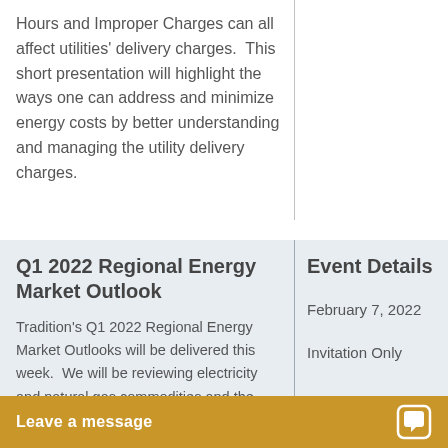Hours and Improper Charges can all affect utilities' delivery charges. This short presentation will highlight the ways one can address and minimize energy costs by better understanding and managing the utility delivery charges.
Q1 2022 Regional Energy Market Outlook
Event Details
Tradition's Q1 2022 Regional Energy Market Outlooks will be delivered this week. We will be reviewing electricity and natural gas commodities and the likely market conditions and prices
February 7, 2022
Invitation Only